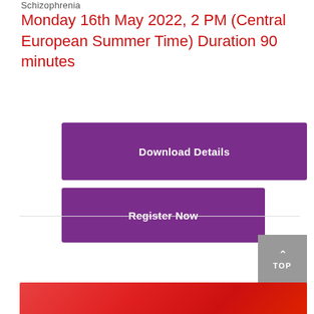Schizophrenia
Monday 16th May 2022, 2 PM (Central European Summer Time) Duration 90 minutes
[Figure (other): Purple button labeled 'Download Details']
[Figure (other): Purple button labeled 'Register Now']
[Figure (other): Gray TOP navigation button with upward arrow]
[Figure (other): Red/orange gradient banner at the bottom of the page]